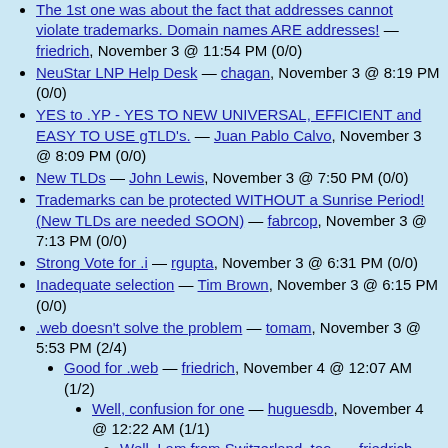The 1st one was about the fact that addresses cannot violate trademarks. Domain names ARE addresses! — friedrich, November 3 @ 11:54 PM (0/0)
NeuStar LNP Help Desk — chagan, November 3 @ 8:19 PM (0/0)
YES to .YP - YES TO NEW UNIVERSAL, EFFICIENT and EASY TO USE gTLD's. — Juan Pablo Calvo, November 3 @ 8:09 PM (0/0)
New TLDs — John Lewis, November 3 @ 7:50 PM (0/0)
Trademarks can be protected WITHOUT a Sunrise Period! (New TLDs are needed SOON) — fabrcop, November 3 @ 7:13 PM (0/0)
Strong Vote for .i — rgupta, November 3 @ 6:31 PM (0/0)
Inadequate selection — Tim Brown, November 3 @ 6:15 PM (0/0)
.web doesn't solve the problem — tomam, November 3 @ 5:53 PM (2/4)
Good for .web — friedrich, November 4 @ 12:07 AM (1/2)
Well, confusion for one — huguesdb, November 4 @ 12:22 AM (1/1)
Well, I am from Switzerland, too. — friedrich, November 4 @ 10:09 PM (0/0)
competition: after all, that IS one of